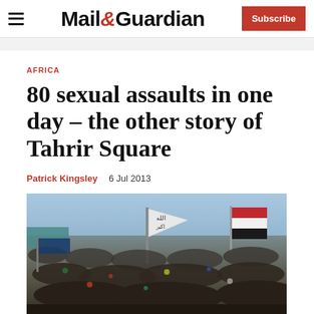Mail&Guardian — Subscribe
AFRICA
80 sexual assaults in one day – the other story of Tahrir Square
Patrick Kingsley   6 Jul 2013
[Figure (photo): Crowd of people gathered at Tahrir Square with flags and banners visible]